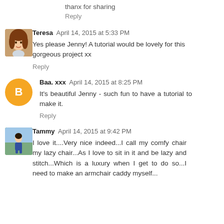thanx for sharing
Reply
Teresa  April 14, 2015 at 5:33 PM
Yes please Jenny! A tutorial would be lovely for this gorgeous project xx
Reply
Baa. xxx  April 14, 2015 at 8:25 PM
It's beautiful Jenny - such fun to have a tutorial to make it.
Reply
Tammy  April 14, 2015 at 9:42 PM
I love it....Very nice indeed...I call my comfy chair my lazy chair...As I love to sit in it and be lazy and stitch...Which is a luxury when I get to do so...I need to make an armchair caddy myself...